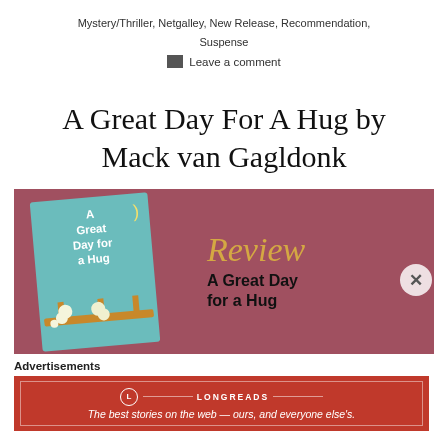Mystery/Thriller, Netgalley, New Release, Recommendation, Suspense
Leave a comment
A Great Day For A Hug by Mack van Gagldonk
[Figure (illustration): Review banner with book cover image on a mauve/rose background. Left side shows a children's book cover for 'A Great Day for a Hug' with teal background and cartoon animals. Right side shows cursive 'Review' text in gold and bold text 'A Great Day for a Hug'.]
Advertisements
[Figure (logo): Longreads advertisement banner in red with logo and tagline: 'The best stories on the web — ours, and everyone else's.']